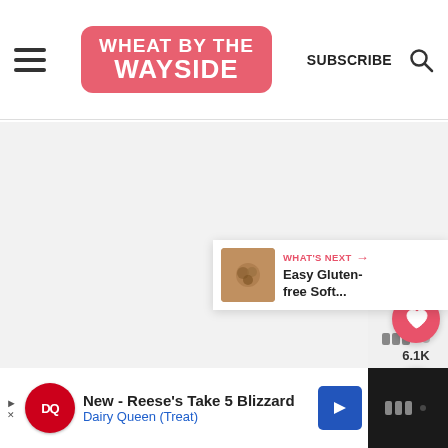Wheat by the Wayside — SUBSCRIBE
[Figure (screenshot): Large white/light gray blank content area below header]
[Figure (infographic): Floating red heart/like button with 6.1K count and share button on right side]
[Figure (infographic): What's Next banner with thumbnail image and text: Easy Gluten-free Soft...]
[Figure (logo): Wix logo (partially visible) on dark background bottom right]
[Figure (infographic): Dairy Queen advertisement: New - Reese's Take 5 Blizzard, Dairy Queen (Treat)]